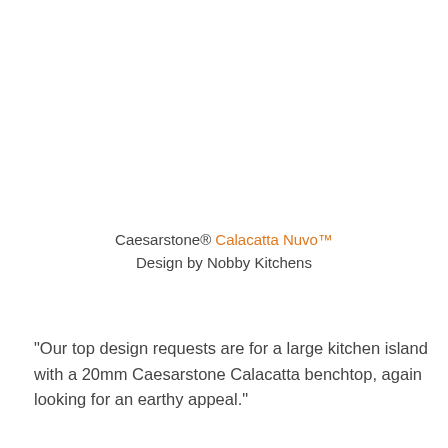Caesarstone® Calacatta Nuvo™ Design by Nobby Kitchens
“Our top design requests are for a large kitchen island with a 20mm Caesarstone Calacatta benchtop, again looking for an earthy appeal.”